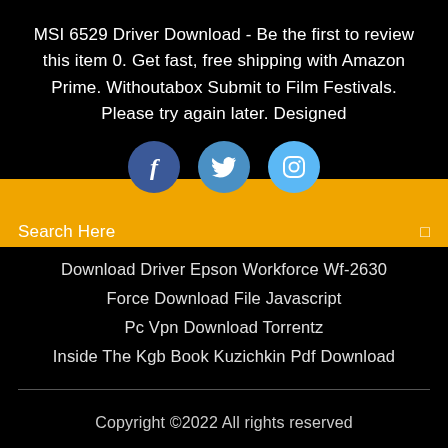MSI 6529 Driver Download - Be the first to review this item 0. Get fast, free shipping with Amazon Prime. Withoutabox Submit to Film Festivals. Please try again later. Designed
[Figure (illustration): Three social media circular icon buttons: Facebook (dark blue), Twitter (medium blue), Instagram (light blue), partially overlapping an orange search bar]
Search Here
Download Driver Epson Workforce Wf-2630
Force Download File Javascript
Pc Vpn Download Torrentz
Inside The Kgb Book Kuzichkin Pdf Download
Copyright ©2022 All rights reserved